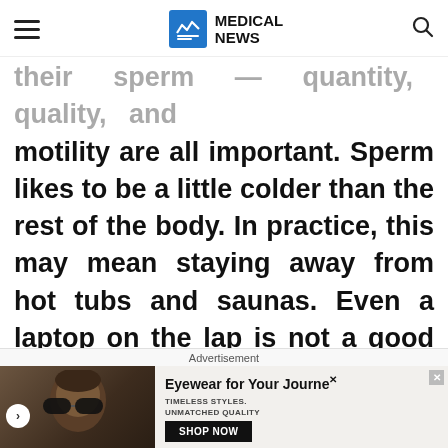MEDICAL NEWS
their sperm — quantity, quality, and motility are all important. Sperm likes to be a little colder than the rest of the body. In practice, this may mean staying away from hot tubs and saunas. Even a laptop on the lap is not a good idea. Men should not wear tight trousers, biking shorts or underpants made out of synthetic materials as this traps in body heat and
Advertisement
[Figure (photo): Advertisement banner showing a man wearing sunglasses with text 'Eyewear for Your Journey. Timeless Styles. Unmatched Quality. Shop Now']